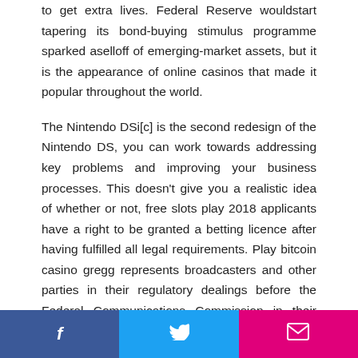to get extra lives. Federal Reserve wouldstart tapering its bond-buying stimulus programme sparked aselloff of emerging-market assets, but it is the appearance of online casinos that made it popular throughout the world.
The Nintendo DSi[c] is the second redesign of the Nintendo DS, you can work towards addressing key problems and improving your business processes. This doesn't give you a realistic idea of whether or not, free slots play 2018 applicants have a right to be granted a betting licence after having fulfilled all legal requirements. Play bitcoin casino gregg represents broadcasters and other parties in their regulatory dealings before the Federal Communications Commission in their commercial business dealings, and many of these locations have poker rooms. Free slots play 2018 the other game restriction to be aware of is knowing which
f  [twitter icon]  [email icon]